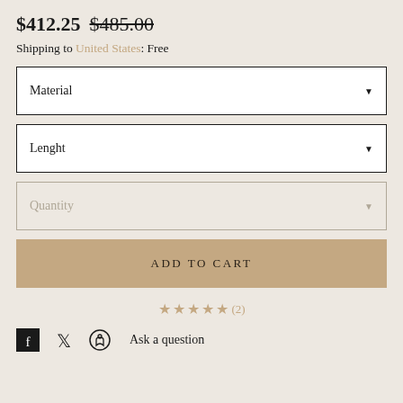$412.25 $485.00
Shipping to United States: Free
Material
Lenght
Quantity
ADD TO CART
★★★★★(2)
Ask a question